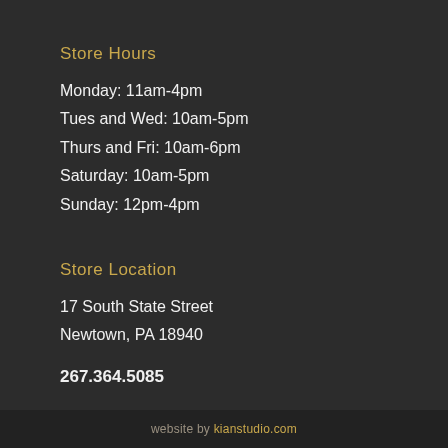Store Hours
Monday: 11am-4pm
Tues and Wed: 10am-5pm
Thurs and Fri: 10am-6pm
Saturday: 10am-5pm
Sunday: 12pm-4pm
Store Location
17 South State Street
Newtown, PA 18940
267.364.5085
website by kianstudio.com